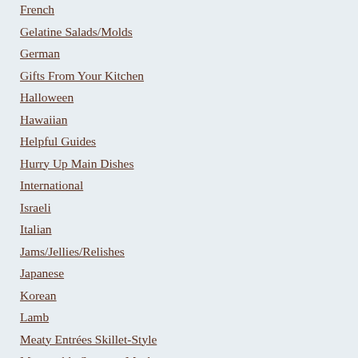French
Gelatine Salads/Molds
German
Gifts From Your Kitchen
Halloween
Hawaiian
Helpful Guides
Hurry Up Main Dishes
International
Israeli
Italian
Jams/Jellies/Relishes
Japanese
Korean
Lamb
Meaty Entrées Skillet-Style
Memorable Summer Meals
Men's Favorites
Mexican